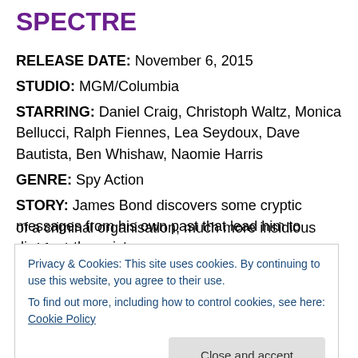SPECTRE
RELEASE DATE: November 6, 2015
STUDIO: MGM/Columbia
STARRING: Daniel Craig, Christoph Waltz, Monica Bellucci, Ralph Fiennes, Lea Seydoux, Dave Bautista, Ben Whishaw, Naomie Harris
GENRE: Spy Action
STORY: James Bond discovers some cryptic messages from his own past that lead him to discover the existence of a criminal organisation, much more insidious and further
Privacy & Cookies: This site uses cookies. By continuing to use this website, you agree to their use.
To find out more, including how to control cookies, see here: Cookie Policy
champion of the Bond films, and anticipation for this